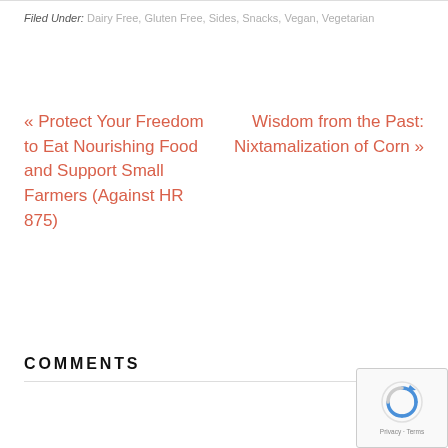Filed Under: Dairy Free, Gluten Free, Sides, Snacks, Vegan, Vegetarian
« Protect Your Freedom to Eat Nourishing Food and Support Small Farmers (Against HR 875)
Wisdom from the Past: Nixtamalization of Corn »
COMMENTS
[Figure (logo): reCAPTCHA badge with spinning arrow logo and 'Privacy · Terms' text]